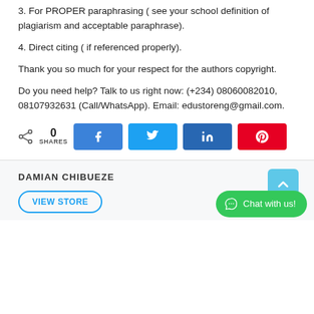3. For PROPER paraphrasing ( see your school definition of plagiarism and acceptable paraphrase).
4. Direct citing ( if referenced properly).
Thank you so much for your respect for the authors copyright.
Do you need help? Talk to us right now: (+234) 08060082010, 08107932631 (Call/WhatsApp). Email: edustoreng@gmail.com.
[Figure (infographic): Share bar with 0 shares count and four social media buttons: Facebook (blue), Twitter (light blue), LinkedIn (dark blue), Pinterest (red)]
DAMIAN CHIBUEZE
VIEW STORE